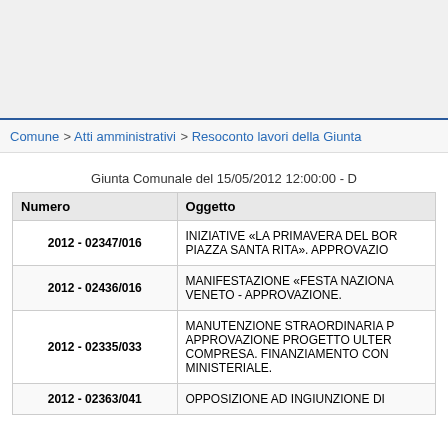Comune > Atti amministrativi > Resoconto lavori della Giunta
Giunta Comunale del 15/05/2012 12:00:00 - D
| Numero | Oggetto |
| --- | --- |
| 2012 - 02347/016 | INIZIATIVE «LA PRIMAVERA DEL BOR PIAZZA SANTA RITA». APPROVAZIO |
| 2012 - 02436/016 | MANIFESTAZIONE «FESTA NAZIONA VENETO - APPROVAZIONE. |
| 2012 - 02335/033 | MANUTENZIONE STRAORDINARIA P APPROVAZIONE PROGETTO ULTER COMPRESA. FINANZIAMENTO CON MINISTERIALE. |
| 2012 - 02363/041 | OPPOSIZIONE AD INGIUNZIONE DI |